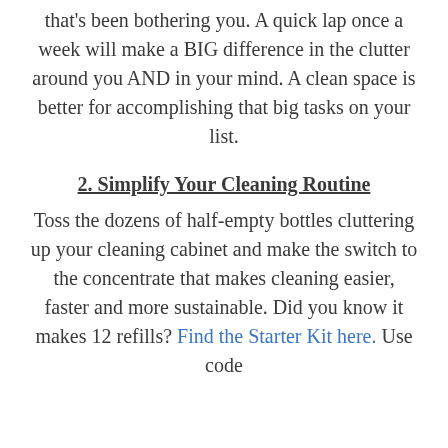that's been bothering you. A quick lap once a week will make a BIG difference in the clutter around you AND in your mind. A clean space is better for accomplishing that big tasks on your list.
2. Simplify Your Cleaning Routine
Toss the dozens of half-empty bottles cluttering up your cleaning cabinet and make the switch to the concentrate that makes cleaning easier, faster and more sustainable. Did you know it makes 12 refills? Find the Starter Kit here. Use code